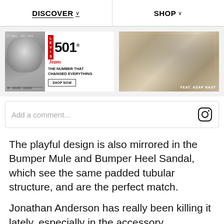DISCOVER  SHOP
[Figure (screenshot): Levi's 501 Jeans advertisement banner with black-and-white photo on left and '501 Jeans - The Number That Changed Everything - Shop Now' text]
[Figure (photo): Fashion photo of A$AP Nast wearing Levi's jeans, lounging, with 'FEAT. ASAP NAST' label]
Add a comment...
The playful design is also mirrored in the Bumper Mule and Bumper Heel Sandal, which see the same padded tubular structure, and are the perfect match.
Jonathan Anderson has really been killing it lately, especially in the accessory department,